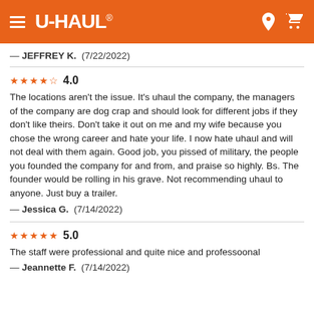U-HAUL
— JEFFREY K.  (7/22/2022)
★★★★☆ 4.0
The locations aren't the issue. It's uhaul the company, the managers of the company are dog crap and should look for different jobs if they don't like theirs. Don't take it out on me and my wife because you chose the wrong career and hate your life. I now hate uhaul and will not deal with them again. Good job, you pissed of military, the people you founded the company for and from, and praise so highly. Bs. The founder would be rolling in his grave. Not recommending uhaul to anyone. Just buy a trailer.
— Jessica G.  (7/14/2022)
★★★★★ 5.0
The staff were professional and quite nice and professoonal
— Jeannette F.  (7/14/2022)